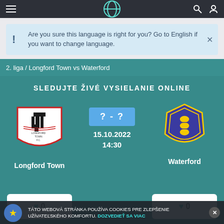Navigation bar with hamburger menu, logo, search and user icons
Are you sure this language is right for you? Go to English if you want to change language.
2. liga / Longford Town vs Waterford
SLEDUJTE ŽIVÉ VYSIELANIE ONLINE
[Figure (infographic): Longford Town FC badge/crest - white shield with black tower silhouette and club text]
? - ?
15.10.2022
14:30
[Figure (infographic): Waterford FC badge - blue/purple shield shape with yellow lion motif]
Longford Town
Waterford
0
0
TÁTO WEBOVÁ STRÁNKA POUŽÍVA COOKIES PRE ZLEPŠENIE UŽÍVATEĽSKÉHO KOMFORTU. DOZVEDIEŤ SA VIAC